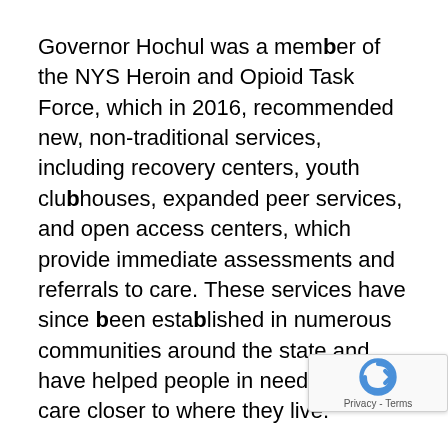Governor Hochul was a member of the NYS Heroin and Opioid Task Force, which in 2016, recommended new, non-traditional services, including recovery centers, youth clubhouses, expanded peer services, and open access centers, which provide immediate assessments and referrals to care. These services have since been established in numerous communities around the state and have helped people in need access care closer to where they live.
New Yorkers struggling with an addiction, or whose loved ones are struggling, can find help and hope by calling the state's toll-free, 24-hour, 7-day-a-week HOPEline at 1-877-8-HOPENY (1-877-846-7369) or by texting HOPENY (Short Code 467369)
Available addiction treatment including crisis/detox, inpatient, residential, or outpatient care can be